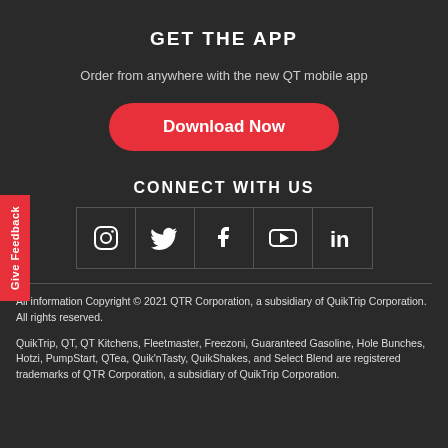GET THE APP
Order from anywhere with the new QT mobile app
Download Now
CONNECT WITH US
[Figure (infographic): Five social media icons in bordered grid cells: Instagram, Twitter, Facebook, YouTube, LinkedIn]
All information Copyright © 2021 QTR Corporation, a subsidiary of QuikTrip Corporation. All rights reserved.
QuikTrip, QT, QT Kitchens, Fleetmaster, Freezoni, Guaranteed Gasoline, Hole Bunches, Hotzi, PumpStart, QTea, Quik'nTasty, QuikShakes, and Select Blend are registered trademarks of QTR Corporation, a subsidiary of QuikTrip Corporation.